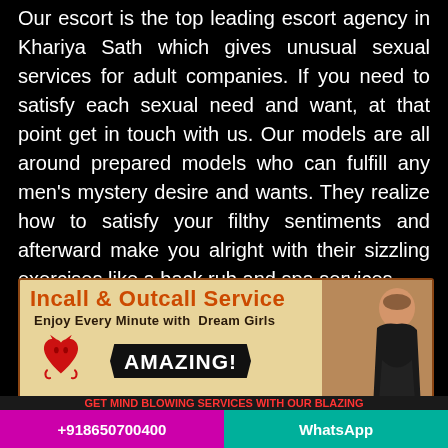Our escort is the top leading escort agency in Khariya Sath which gives unusual sexual services for adult companies. If you need to satisfy each sexual need and want, at that point get in touch with us. Our models are all around prepared models who can fulfill any men's mystery desire and wants. They realize how to satisfy your filthy sentiments and afterward make you alright with their sizzling exercises like a back rub and spa services.
[Figure (infographic): Advertisement banner for escort service showing 'Incall & Outcall Service', 'Enjoy Every Minute with Dream Girls', devil heart logo, AMAZING! badge, 'Just Visit Now and Hire 24*7', website URL www.modelescortsindelhi.com, and a photo of a woman on the right side.]
+918650700400    WhatsApp